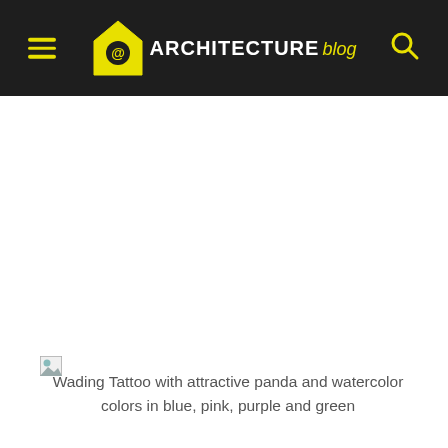ARCHITECTURE blog
[Figure (screenshot): Broken/missing image placeholder for a tattoo photo — large white space in the content area]
Wading Tattoo with attractive panda and watercolor colors in blue, pink, purple and green